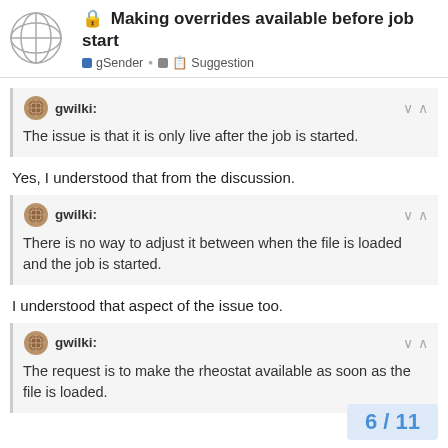Making overrides available before job start — gSender | Suggestion
gwilki: The issue is that it is only live after the job is started.
Yes, I understood that from the discussion.
gwilki: There is no way to adjust it between when the file is loaded and the job is started.
I understood that aspect of the issue too.
gwilki: The request is to make the rheostat available as soon as the file is loaded.
6 / 11